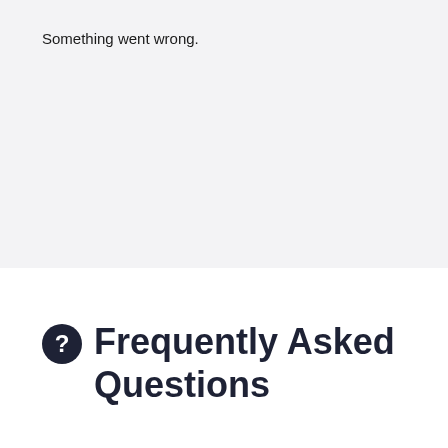Something went wrong.
Frequently Asked Questions